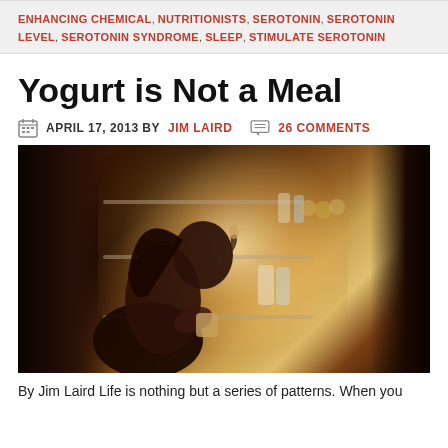ENHANCING CHEMICAL, NUTRITIONISTS, SEROTONIN, SEROTONIN LEVEL, SEROTONIN SYNDROME, SLEEP, STIMULATE SEROTONIN
Yogurt is Not a Meal
APRIL 17, 2013 BY JIM LAIRD  26 COMMENTS
[Figure (photo): Young woman eating yogurt from a cup while standing in front of an open refrigerator at night, lit by the refrigerator light]
By Jim Laird Life is nothing but a series of patterns. When you